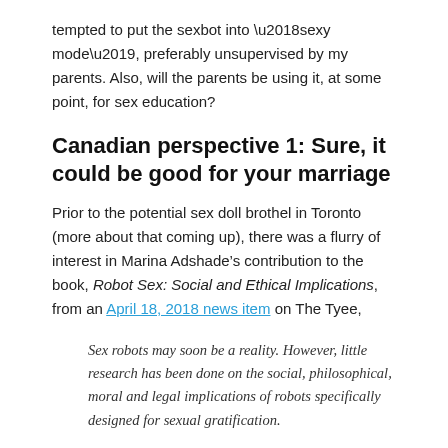tempted to put the sexbot into ‘sexy mode’, preferably unsupervised by my parents. Also, will the parents be using it, at some point, for sex education?
Canadian perspective 1: Sure, it could be good for your marriage
Prior to the potential sex doll brothel in Toronto (more about that coming up), there was a flurry of interest in Marina Adshade’s contribution to the book, Robot Sex: Social and Ethical Implications, from an April 18, 2018 news item on The Tyee,
Sex robots may soon be a reality. However, little research has been done on the social, philosophical, moral and legal implications of robots specifically designed for sexual gratification.